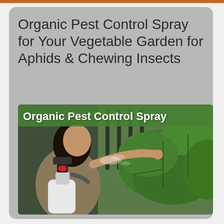Organic Pest Control Spray for Your Vegetable Garden for Aphids & Chewing Insects
[Figure (photo): A woman spraying plants with a white pump sprayer in a vegetable garden, with large green leaves visible. Overlay text reads 'Organic Pest Control Spray'.]